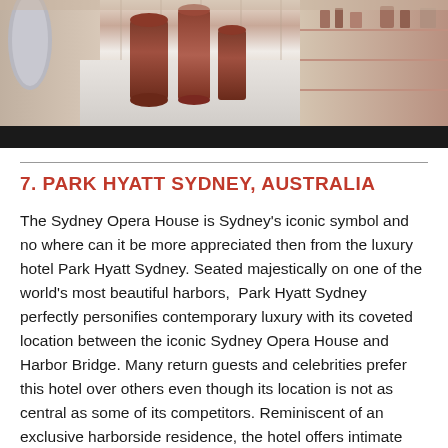[Figure (photo): Interior photo of Park Hyatt Sydney showing copper/bronze decorative vessels on a white marble surface, with a warm-toned restaurant or lobby space in the background. A dark bar appears at the bottom of the image.]
7. PARK HYATT SYDNEY, AUSTRALIA
The Sydney Opera House is Sydney's iconic symbol and no where can it be more appreciated then from the luxury hotel Park Hyatt Sydney. Seated majestically on one of the world's most beautiful harbors, Park Hyatt Sydney perfectly personifies contemporary luxury with its coveted location between the iconic Sydney Opera House and Harbor Bridge. Many return guests and celebrities prefer this hotel over others even though its location is not as central as some of its competitors. Reminiscent of an exclusive harborside residence, the hotel offers intimate surrounds with architecture, art and design that reflect the Australian landscape. Highlights include 155 spacious guestrooms and suites with contemporary interiors and floor-to-ceiling glass